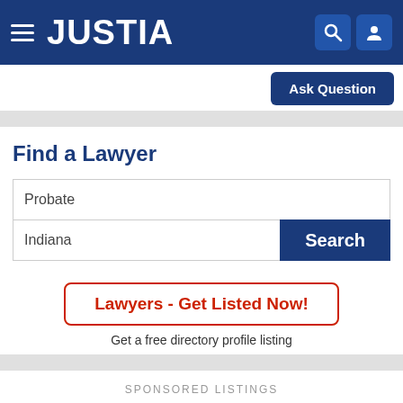JUSTIA
Ask Question
Find a Lawyer
Probate
Indiana
Search
Lawyers - Get Listed Now!
Get a free directory profile listing
SPONSORED LISTINGS